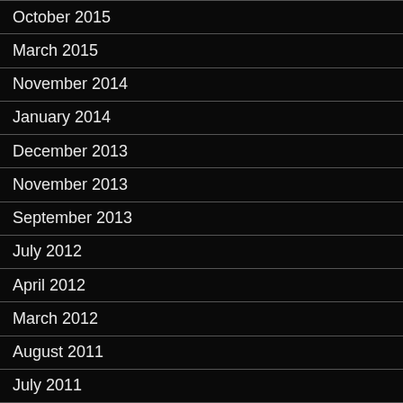October 2015
March 2015
November 2014
January 2014
December 2013
November 2013
September 2013
July 2012
April 2012
March 2012
August 2011
July 2011